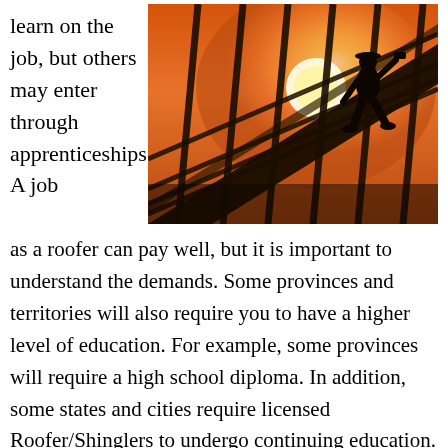learn on the job, but others may enter through apprenticeships. A job
[Figure (photo): Silhouette of a roofer/construction worker hammering on a roof frame against a warm orange sunset sky.]
as a roofer can pay well, but it is important to understand the demands. Some provinces and territories will also require you to have a higher level of education. For example, some provinces will require a high school diploma. In addition, some states and cities require licensed Roofer/Shinglers to undergo continuing education. You can become a certified Roofer/Shingler by taking an interprovincial exam. You will receive a